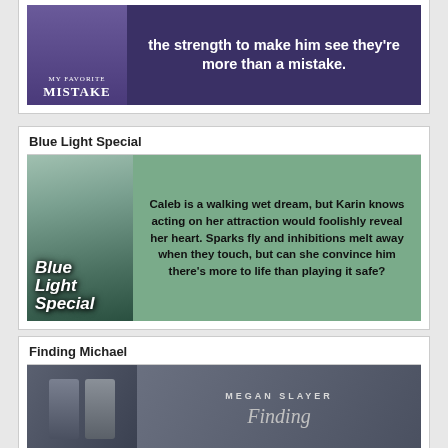[Figure (illustration): Top portion of 'My Favorite Mistake' book banner with purple background and text: 'the strength to make him see they're more than a mistake.']
Blue Light Special
[Figure (illustration): Blue Light Special book banner with green background. Book cover shows blonde woman. Text: 'Caleb is a walking wet dream, but Karin knows acting on her attraction would foolishly reveal her heart. Sparks fly and inhibitions melt away when they touch, but can she convince him there's more to life than playing it safe?']
Finding Michael
[Figure (illustration): Finding Michael book banner showing two men on the left side and author name MEGAN SLAYER with script title 'Finding' on right side.]